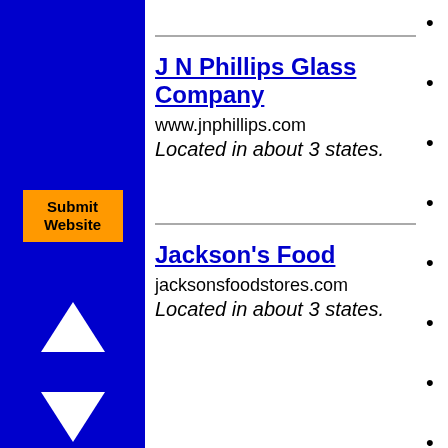[Figure (other): Blue left sidebar with orange Submit Website button, white up arrow triangle, and white down arrow triangle]
J N Phillips Glass Company
www.jnphillips.com
Located in about 3 states.
Jackson's Food
jacksonsfoodstores.com
Located in about 3 states.